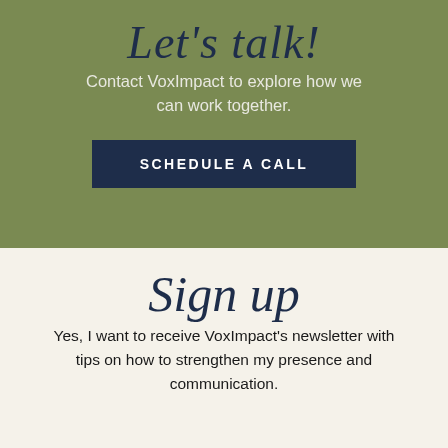Let's talk!
Contact VoxImpact to explore how we can work together.
SCHEDULE A CALL
Sign up
Yes, I want to receive VoxImpact's newsletter with tips on how to strengthen my presence and communication.